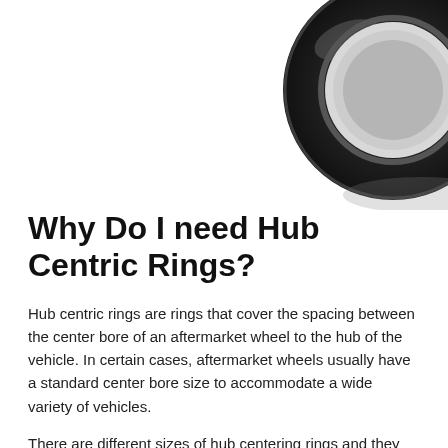[Figure (photo): Partial view of a black hub centric ring shown in the top-right corner of the page, cropped at the edges.]
Why Do I need Hub Centric Rings?
Hub centric rings are rings that cover the spacing between the center bore of an aftermarket wheel to the hub of the vehicle. In certain cases, aftermarket wheels usually have a standard center bore size to accommodate a wide variety of vehicles.
There are different sizes of hub centering rings and they are measured in millimeters that are available through the dealer who sold the wheels. Hub centric rings are important because they secure the wheel in place, and they ensure that the wheels are perfectly centered on the vehicle's hub. This helps to prevent any